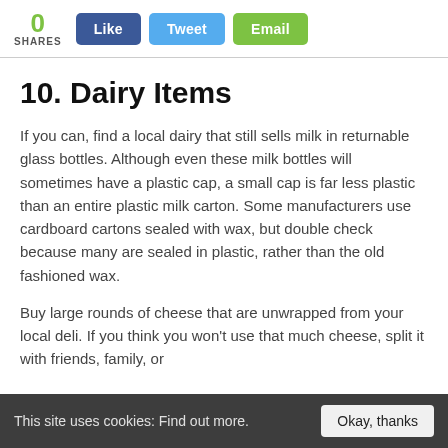0 SHARES  Like  Tweet  Email
10. Dairy Items
If you can, find a local dairy that still sells milk in returnable glass bottles. Although even these milk bottles will sometimes have a plastic cap, a small cap is far less plastic than an entire plastic milk carton. Some manufacturers use cardboard cartons sealed with wax, but double check because many are sealed in plastic, rather than the old fashioned wax.
Buy large rounds of cheese that are unwrapped from your local deli. If you think you won't use that much cheese, split it with friends, family, or
This site uses cookies: Find out more.  Okay, thanks